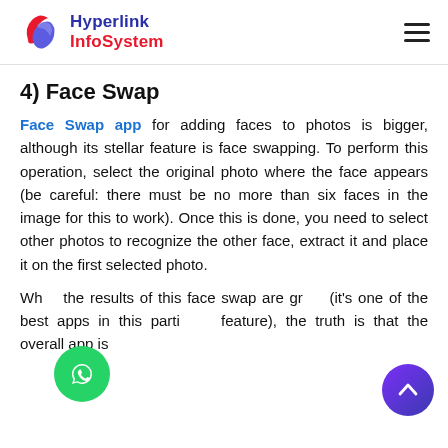Hyperlink InfoSystem
4) Face Swap
Face Swap app for adding faces to photos is bigger, although its stellar feature is face swapping. To perform this operation, select the original photo where the face appears (be careful: there must be no more than six faces in the image for this to work). Once this is done, you need to select other photos to recognize the other face, extract it and place it on the first selected photo.
While the results of this face swap are great (it's one of the best apps in this particular feature), the truth is that the overall app is